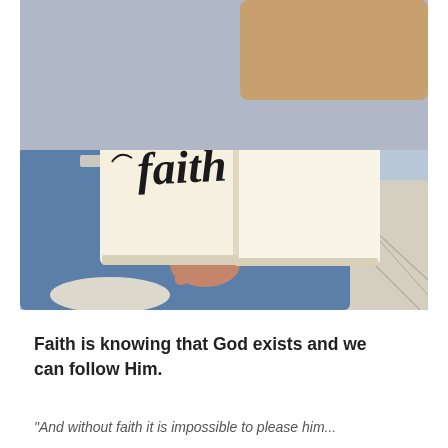[Figure (photo): A person sitting and holding open a notebook/journal with the word 'faith' written in decorative calligraphy script. The person is wearing ripped jeans and sitting on what appears to be a chair or couch.]
Faith is knowing that God exists and we can follow Him.
“And without faith it is impossible to please him...